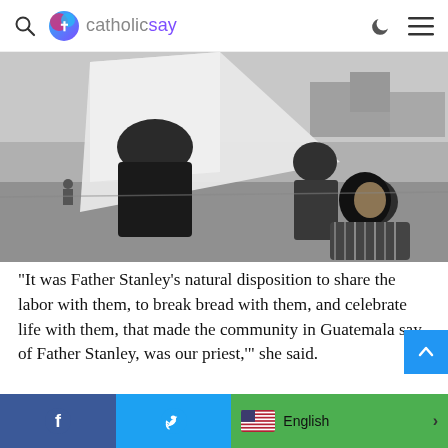catholicsay
[Figure (photo): Black and white photograph of people outdoors, including a woman looking up at a large white kite or cloth, with children and open field in background.]
“It was Father Stanley’s natural disposition to share the labor with them, to break bread with them, and celebrate life with them, that made the community in Guatemala say of Father Stanley, was our priest,’” she said.